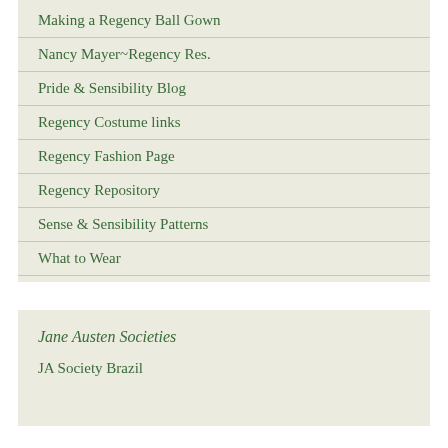Making a Regency Ball Gown
Nancy Mayer~Regency Res.
Pride & Sensibility Blog
Regency Costume links
Regency Fashion Page
Regency Repository
Sense & Sensibility Patterns
What to Wear
Jane Austen Societies
JA Society Brazil